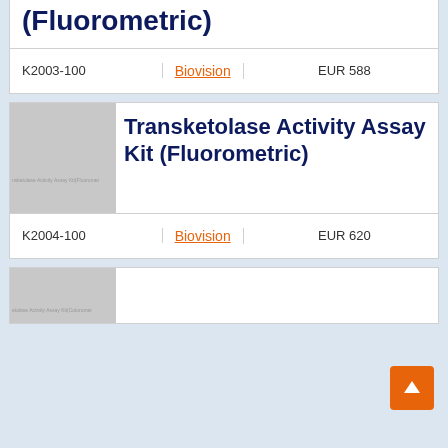(Fluorometric)
| Catalog | Vendor |  | Price |
| --- | --- | --- | --- |
| K2003-100 | Biovision |  | EUR 588 |
[Figure (photo): Product image placeholder for Transketolase Activity Assay Kit Fluorometric]
Transketolase Activity Assay Kit (Fluorometric)
| Catalog | Vendor |  | Price |
| --- | --- | --- | --- |
| K2004-100 | Biovision |  | EUR 620 |
[Figure (photo): Product image placeholder for next assay kit]